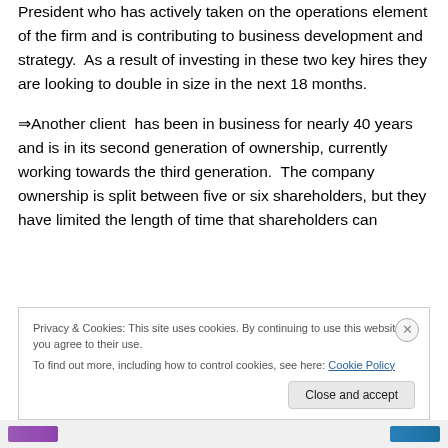President who has actively taken on the operations element of the firm and is contributing to business development and strategy.  As a result of investing in these two key hires they are looking to double in size in the next 18 months.
⇒Another client  has been in business for nearly 40 years and is in its second generation of ownership, currently working towards the third generation.  The company ownership is split between five or six shareholders, but they have limited the length of time that shareholders can
Privacy & Cookies: This site uses cookies. By continuing to use this website, you agree to their use.
To find out more, including how to control cookies, see here: Cookie Policy
Close and accept